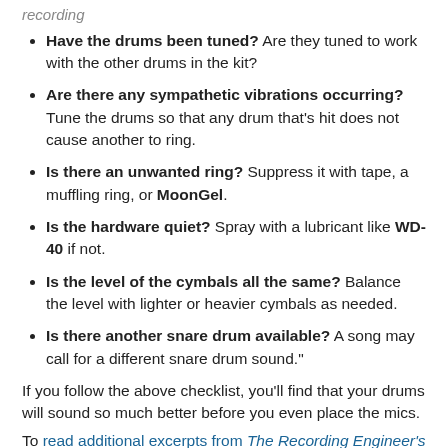recording
Have the drums been tuned? Are they tuned to work with the other drums in the kit?
Are there any sympathetic vibrations occurring? Tune the drums so that any drum that's hit does not cause another to ring.
Is there an unwanted ring? Suppress it with tape, a muffling ring, or MoonGel.
Is the hardware quiet? Spray with a lubricant like WD-40 if not.
Is the level of the cymbals all the same? Balance the level with lighter or heavier cymbals as needed.
Is there another snare drum available? A song may call for a different snare drum sound."
If you follow the above checklist, you'll find that your drums will sound so much better before you even place the mics.
To read additional excerpts from The Recording Engineer's